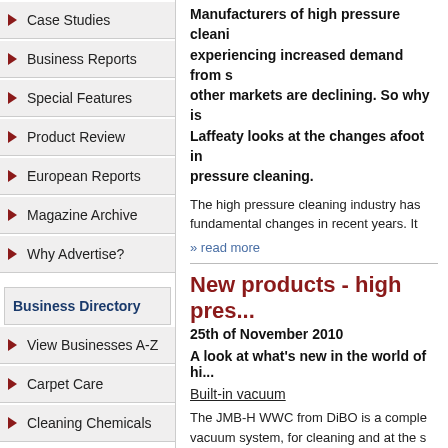Case Studies
Business Reports
Special Features
Product Review
European Reports
Magazine Archive
Why Advertise?
Business Directory
View Businesses A-Z
Carpet Care
Cleaning Chemicals
Manufacturers of high pressure cleaning experiencing increased demand from s other markets are declining. So why is Laffeaty looks at the changes afoot in pressure cleaning.
The high pressure cleaning industry has fundamental changes in recent years. It
» read more
New products - high pre...
25th of November 2010
A look at what's new in the world of hi...
Built-in vacuum
The JMB-H WWC from DiBO is a comple vacuum system, for cleaning and at the s
The compact unit incorporates two stainle clean
» read more